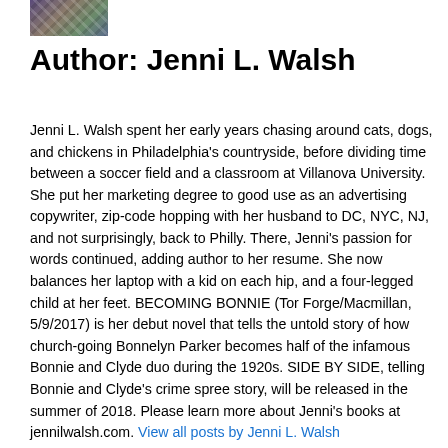[Figure (photo): Small cropped photo of Jenni L. Walsh in upper left corner]
Author: Jenni L. Walsh
Jenni L. Walsh spent her early years chasing around cats, dogs, and chickens in Philadelphia's countryside, before dividing time between a soccer field and a classroom at Villanova University. She put her marketing degree to good use as an advertising copywriter, zip-code hopping with her husband to DC, NYC, NJ, and not surprisingly, back to Philly. There, Jenni's passion for words continued, adding author to her resume. She now balances her laptop with a kid on each hip, and a four-legged child at her feet. BECOMING BONNIE (Tor Forge/Macmillan, 5/9/2017) is her debut novel that tells the untold story of how church-going Bonnelyn Parker becomes half of the infamous Bonnie and Clyde duo during the 1920s. SIDE BY SIDE, telling Bonnie and Clyde's crime spree story, will be released in the summer of 2018. Please learn more about Jenni's books at jennilwalsh.com. View all posts by Jenni L. Walsh